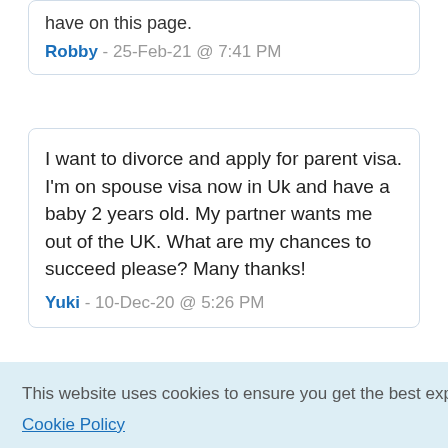have on this page.
Robby - 25-Feb-21 @ 7:41 PM
I want to divorce and apply for parent visa. I'm on spouse visa now in Uk and have a baby 2 years old. My partner wants me out of the UK. What are my chances to succeed please? Many thanks!
Yuki - 10-Dec-20 @ 5:26 PM
This website uses cookies to ensure you get the best experience on our website. Cookie Policy
Got it!
Christmases. Recently my brother has found